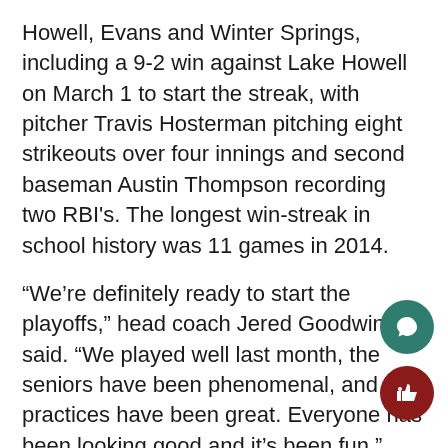Howell, Evans and Winter Springs, including a 9-2 win against Lake Howell on March 1 to start the streak, with pitcher Travis Hosterman pitching eight strikeouts over four innings and second baseman Austin Thompson recording two RBI's. The longest win-streak in school history was 11 games in 2014.
“We’re definitely ready to start the playoffs,” head coach Jered Goodwin said. “We played well last month, the seniors have been phenomenal, and practices have been great. Everyone has been looking good and it’s been fun.”
Throughout his nine years as head coach, Goodwin has been to the playoffs six times in his tenure with three seniors already claiming district titles, which the team hopes to expand on.
“As seniors, we’ve enjoyed every moment of this